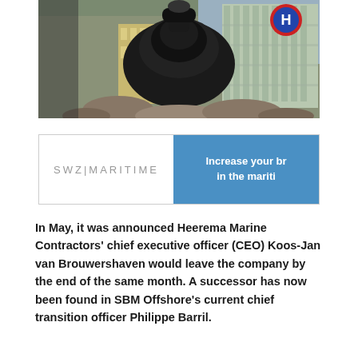[Figure (photo): Close-up photo of a large black mechanical component (possibly a mooring buoy or industrial machinery) set on rocks, with urban buildings and a blue/red circular sign in the background.]
[Figure (other): SWZ|MARITIME advertisement banner with logo on white left side and blue right side reading 'Increase your br... in the mariti...']
In May, it was announced Heerema Marine Contractors' chief executive officer (CEO) Koos-Jan van Brouwershaven would leave the company by the end of the same month. A successor has now been found in SBM Offshore's current chief transition officer Philippe Barril.